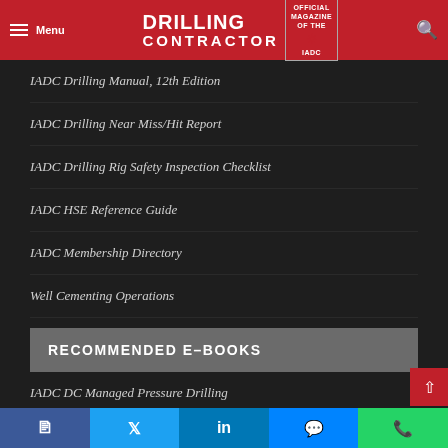Drilling Contractor — Official Magazine of the IADC
IADC Drilling Manual, 12th Edition
IADC Drilling Near Miss/Hit Report
IADC Drilling Rig Safety Inspection Checklist
IADC HSE Reference Guide
IADC Membership Directory
Well Cementing Operations
RECOMMENDED E-BOOKS
IADC DC Managed Pressure Drilling
IADC Drilling Control System Alarm Management Guidelin…
IADC Guidelines for Assessing and Managing Cybersecurity…
Facebook  Twitter  LinkedIn  Messenger  WhatsApp